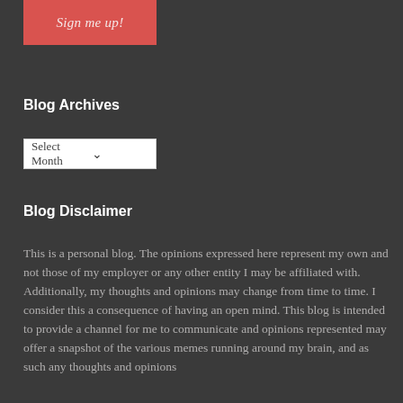[Figure (other): Red button with italic text 'Sign me up!']
Blog Archives
[Figure (other): Dropdown select box with placeholder 'Select Month' and a chevron arrow]
Blog Disclaimer
This is a personal blog. The opinions expressed here represent my own and not those of my employer or any other entity I may be affiliated with. Additionally, my thoughts and opinions may change from time to time. I consider this a consequence of having an open mind. This blog is intended to provide a channel for me to communicate and opinions represented may offer a snapshot of the various memes running around my brain, and as such any thoughts and opinions